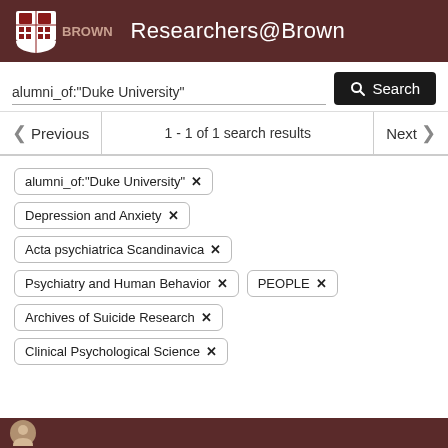Researchers@Brown
alumni_of:"Duke University"
1 - 1 of 1 search results
alumni_of:"Duke University" ✕
Depression and Anxiety ✕
Acta psychiatrica Scandinavica ✕
Psychiatry and Human Behavior ✕
PEOPLE ✕
Archives of Suicide Research ✕
Clinical Psychological Science ✕